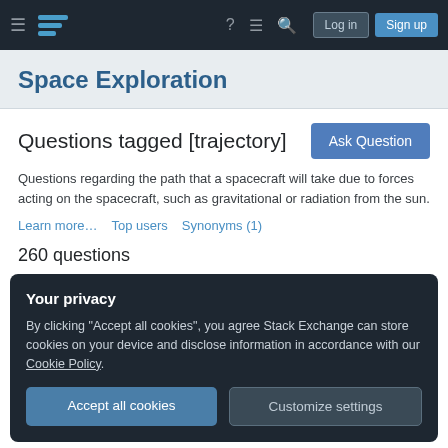≡ [logo] ? ≡ 🔍 Log in Sign up
Space Exploration
Questions tagged [trajectory]
Questions regarding the path that a spacecraft will take due to forces acting on the spacecraft, such as gravitational or radiation from the sun.
Learn more…   Top users   Synonyms (1)
260 questions
Your privacy
By clicking "Accept all cookies", you agree Stack Exchange can store cookies on your device and disclose information in accordance with our Cookie Policy.
Accept all cookies   Customize settings
the initial guesses?